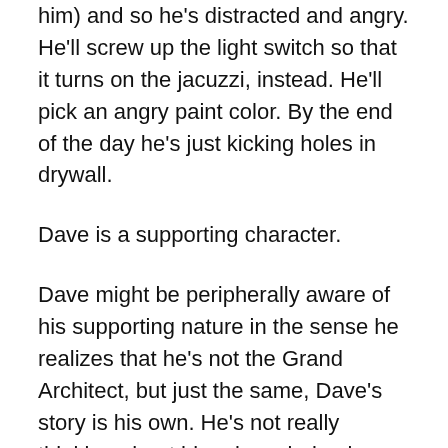him) and so he's distracted and angry. He'll screw up the light switch so that it turns on the jacuzzi, instead. He'll pick an angry paint color. By the end of the day he's just kicking holes in drywall.
Dave is a supporting character.
Dave might be peripherally aware of his supporting nature in the sense he realizes that he's not the Grand Architect, but just the same, Dave's story is his own. He's not really thinking about his role as being lesser in a narrative sense. Dave is the protagonist of his own story. Dave is the beleaguered hero of his own world's mythology.
What that means is